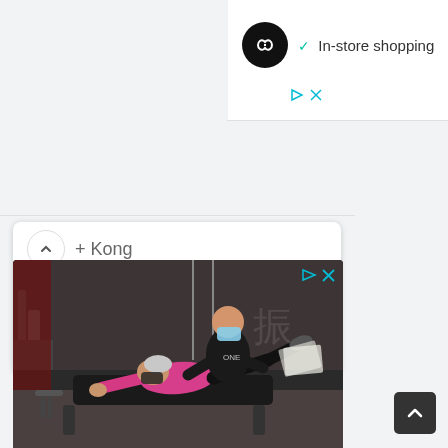[Figure (screenshot): Top right white panel showing Kong logo (black circle with infinity symbol) and 'In-store shopping' text with teal checkmark]
✓  In-store shopping
[Figure (screenshot): Left card panel showing chevron up button, 'Kong' text, 'konghq.com' URL, and blue OPEN button]
↑ Kong
konghq.com
OPEN
[Figure (photo): Gym/fitness advertisement photo showing a trainer in mask assisting a woman in pink shirt doing an exercise on a mat]
[Figure (screenshot): Scroll-to-top arrow button in dark grey at bottom right]